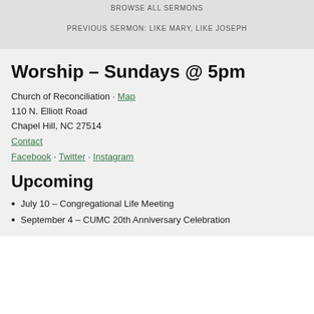BROWSE ALL SERMONS
PREVIOUS SERMON: LIKE MARY, LIKE JOSEPH
Worship – Sundays @ 5pm
Church of Reconciliation · Map
110 N. Elliott Road
Chapel Hill, NC 27514
Contact
Facebook · Twitter · Instagram
Upcoming
July 10 – Congregational Life Meeting
September 4 – CUMC 20th Anniversary Celebration